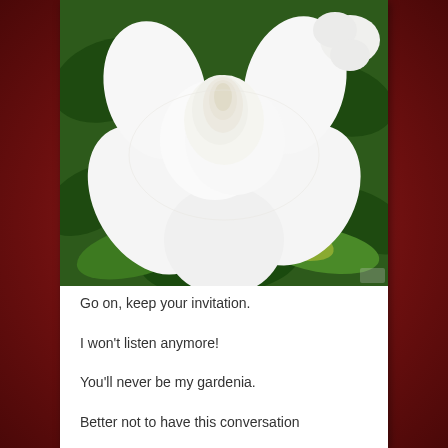[Figure (photo): Close-up photo of a white gardenia flower in bloom, with large white petals and green leaves in the background]
Go on, keep your invitation.
I won't listen anymore!
You'll never be my gardenia.
Better not to have this conversation